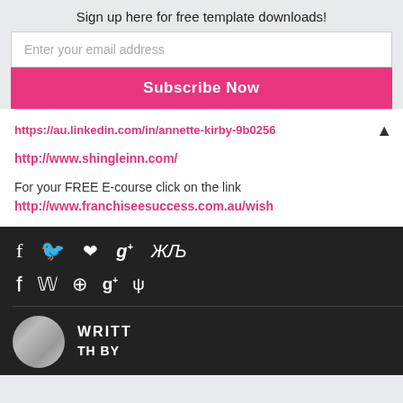Sign up here for free template downloads!
Enter your email address
Subscribe Now
https://au.linkedin.com/in/annette-kirby-9b0256
http://www.shingleinn.com/
For your FREE E-course click on the link
http://www.franchiseesuccess.com.au/wish
[Figure (screenshot): Dark social media share bar with icons: Facebook (f), Twitter (bird), Pinterest (P), Google+ (g+), StumbleUpon; below it author section with circular photo and WRITTEN BY text on dark background]